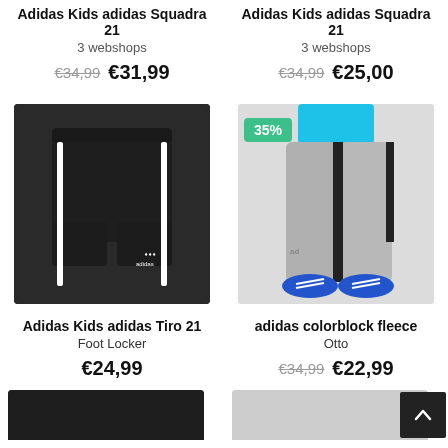Adidas Kids adidas Squadra 21
3 webshops
€34,99  €31,99
Adidas Kids adidas Squadra 21
3 webshops
€34,99  €25,00
[Figure (photo): Black Adidas Kids Tiro 21 shorts on white background]
[Figure (photo): Child wearing grey adidas colorblock fleece joggers with blue shoes, 35% discount badge]
Adidas Kids adidas Tiro 21
Foot Locker
€24,99
adidas colorblock fleece
Otto
€34,99  €22,99
[Figure (photo): Partial bottom images of two more products]
[Figure (photo): Scroll to top button, black square with up arrow]